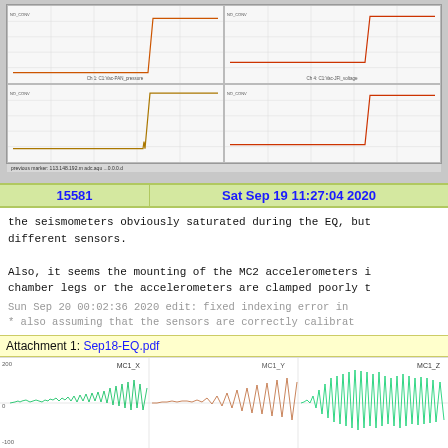[Figure (screenshot): Screenshot of a scientific data monitoring application showing four time-series plots (Ch 1: C1:Vac-PAN_pressure, Ch 4: C1:Vac-JFI_voltage, and two others) with step-function waveforms. Bottom status bar shows IP address 113.148.192.m adc.aqu ...0.0.0.d]
| 15581 | Sat Sep 19 11:27:04 2020 |
| --- | --- |
the seismometers obviously saturated during the EQ, but different sensors.

Also, it seems the mounting of the MC2 accelerometers i chamber legs or the accelerometers are clamped poorly t
Sun Sep 20 00:02:36 2020 edit: fixed indexing error in
* also assuming that the sensors are correctly calibrat
Attachment 1: Sep18-EQ.pdf
[Figure (continuous-plot): Three-panel seismometer plot showing MC1_X (green waveform, left), MC1_Y (brown/red waveform, middle), and MC1_Z (green waveform, right). Y-axis range approximately -200 to 200. Waveforms show seismic activity with increasing amplitude over time.]